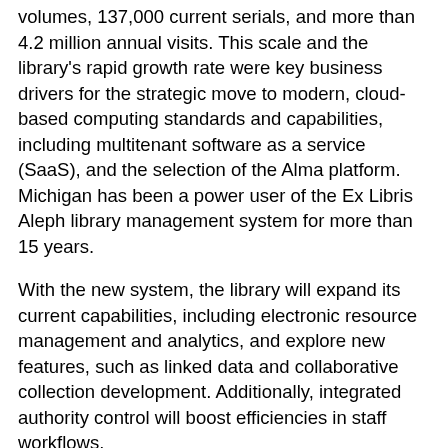volumes, 137,000 current serials, and more than 4.2 million annual visits. This scale and the library's rapid growth rate were key business drivers for the strategic move to modern, cloud-based computing standards and capabilities, including multitenant software as a service (SaaS), and the selection of the Alma platform. Michigan has been a power user of the Ex Libris Aleph library management system for more than 15 years.
With the new system, the library will expand its current capabilities, including electronic resource management and analytics, and explore new features, such as linked data and collaborative collection development. Additionally, integrated authority control will boost efficiencies in staff workflows.
Leveraging the Alma Analytics module, the University of Michigan Library will be able to demonstrate the broad impact of its library services, improve workflow efficiency and service quality, and strengthen data-informed decision making.
To connect with digital collections and repositories and the Ex Libris Central Discovery Index, the library will use the Primo discovery tool on its Flint campus and an open-source solution on its Ann Arbor campus. The Alma platform will be a key part